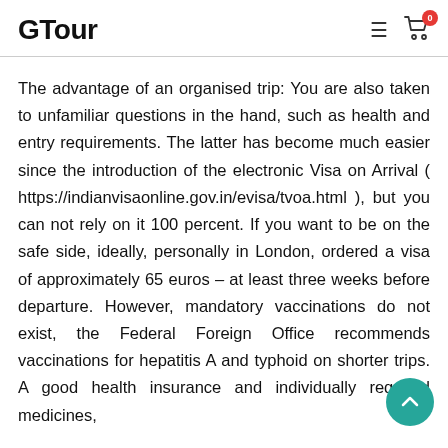GTour
The advantage of an organised trip: You are also taken to unfamiliar questions in the hand, such as health and entry requirements. The latter has become much easier since the introduction of the electronic Visa on Arrival ( https://indianvisaonline.gov.in/evisa/tvoa.html ), but you can not rely on it 100 percent. If you want to be on the safe side, ideally, personally in London, ordered a visa of approximately 65 euros – at least three weeks before departure. However, mandatory vaccinations do not exist, the Federal Foreign Office recommends vaccinations for hepatitis A and typhoid on shorter trips. A good health insurance and individually required medicines,